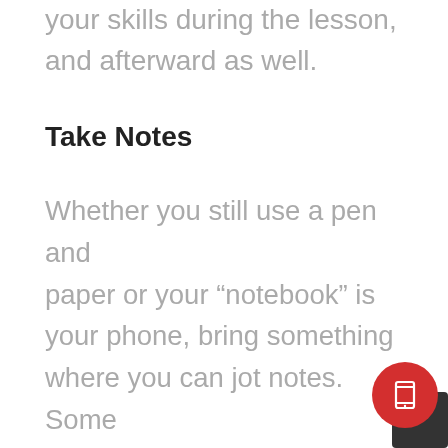your skills during the lesson, and afterward as well.
Take Notes
Whether you still use a pen and paper or your “notebook” is your phone, bring something where you can jot notes. Some instructors even allow you to film techniques during your lesson. However you take notes, take them so you can